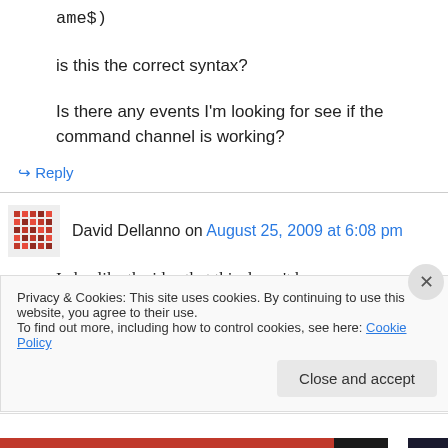ame$)
is this the correct syntax?
Is there any events I'm looking for see if the command channel is working?
↳ Reply
David Dellanno on August 25, 2009 at 6:08 pm
I also like the idea that this doesn't have
Privacy & Cookies: This site uses cookies. By continuing to use this website, you agree to their use. To find out more, including how to control cookies, see here: Cookie Policy
Close and accept